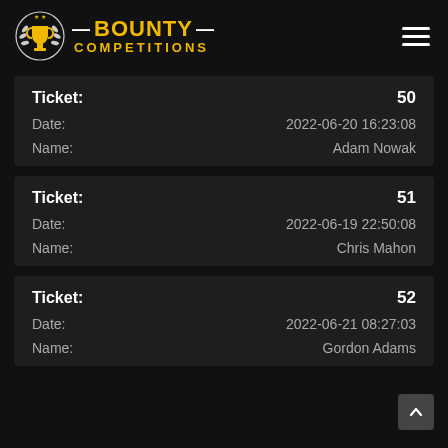[Figure (logo): Bounty Competitions logo with trophy icon and laurel wreath, text BOUNTY COMPETITIONS in gold and white]
| Field | Value |
| --- | --- |
| Ticket: | 50 |
| Date: | 2022-06-20 16:23:08 |
| Name: | Adam Nowak |
| Field | Value |
| --- | --- |
| Ticket: | 51 |
| Date: | 2022-06-19 22:50:08 |
| Name: | Chris Mahon |
| Field | Value |
| --- | --- |
| Ticket: | 52 |
| Date: | 2022-06-21 08:27:03 |
| Name: | Gordon Adams |